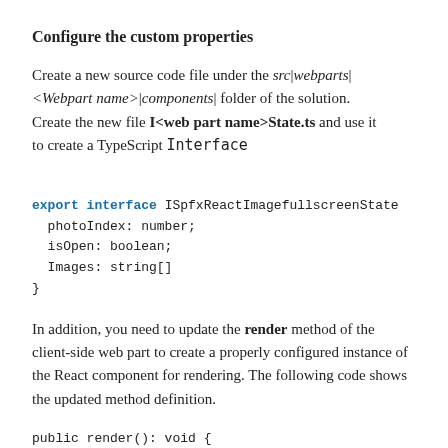Configure the custom properties
Create a new source code file under the src|webparts|<Webpart name>|components| folder of the solution. Create the new file I<web part name>State.ts and use it to create a TypeScript Interface
export interface ISpfxReactImagefullscreenState
  photoIndex: number;
  isOpen: boolean;
  Images: string[]
}
In addition, you need to update the render method of the client-side web part to create a properly configured instance of the React component for rendering. The following code shows the updated method definition.
public render(): void {